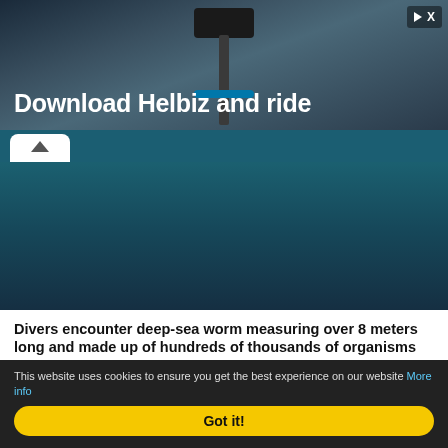[Figure (photo): Advertisement banner for Helbiz scooter app with dark background showing handlebar. Text reads 'Download Helbiz and ride' with close/skip button in top right.]
[Figure (photo): Dark teal/blue blurred background image with a collapse/chevron button at the bottom left.]
Divers encounter deep-sea worm measuring over 8 meters long and made up of hundreds of thousands of organisms
These two divers found themselves dwarfed by a deep-sea worm measuring more than eight meters long and made up of hundreds of thousands of organis...
read more>>
[Figure (photo): Blurred gray/rainbow photo at bottom of page, partially visible.]
This website uses cookies to ensure you get the best experience on our website More info
Got it!